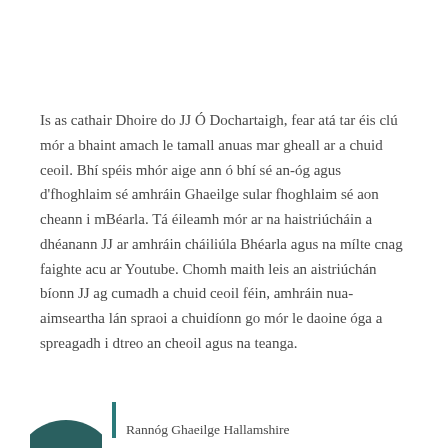Is as cathair Dhoire do JJ Ó Dochartaigh, fear atá tar éis clú mór a bhaint amach le tamall anuas mar gheall ar a chuid ceoil. Bhí spéis mhór aige ann ó bhí sé an-óg agus d'fhoghlaim sé amhráin Ghaeilge sular fhoghlaim sé aon cheann i mBéarla. Tá éileamh mór ar na haistriúcháin a dhéanann JJ ar amhráin cháiliúla Bhéarla agus na mílte cnag faighte acu ar Youtube. Chomh maith leis an aistriúchán bíonn JJ ag cumadh a chuid ceoil féin, amhráin nua-aimseartha lán spraoi a chuidíonn go mór le daoine óga a spreagadh i dtreo an cheoil agus na teanga.
[Figure (illustration): Partial circular image (person portrait) at bottom left, with a teal vertical bar and partial text line to the right]